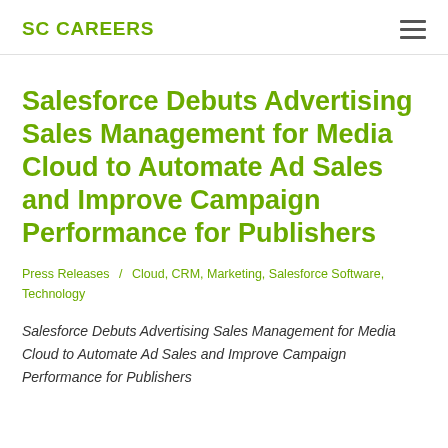SC CAREERS
Salesforce Debuts Advertising Sales Management for Media Cloud to Automate Ad Sales and Improve Campaign Performance for Publishers
Press Releases / Cloud, CRM, Marketing, Salesforce Software, Technology
Salesforce Debuts Advertising Sales Management for Media Cloud to Automate Ad Sales and Improve Campaign Performance for Publishers